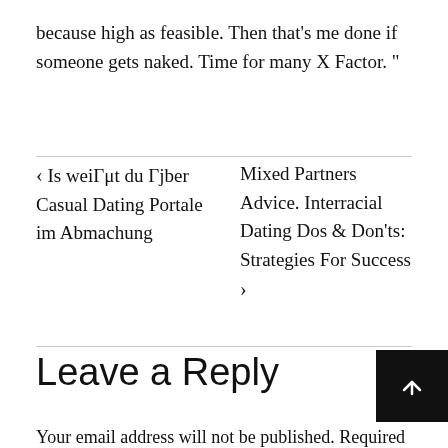because high as feasible. Then that's me done if someone gets naked. Time for many X Factor. "
‹ Is weiΓμt du Γjber Casual Dating Portale im Abmachung
Mixed Partners Advice. Interracial Dating Dos & Don'ts: Strategies For Success ›
Leave a Reply
Your email address will not be published. Required